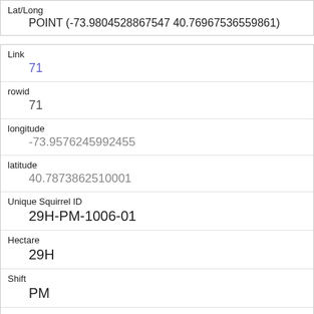| Field | Value |
| --- | --- |
| Lat/Long | POINT (-73.9804528867547 40.76967536559861) |
| Link | 71 |
| rowid | 71 |
| longitude | -73.9576245992455 |
| latitude | 40.7873862510001 |
| Unique Squirrel ID | 29H-PM-1006-01 |
| Hectare | 29H |
| Shift | PM |
| Date | 10062018 |
| Hectare Squirrel Number |  |